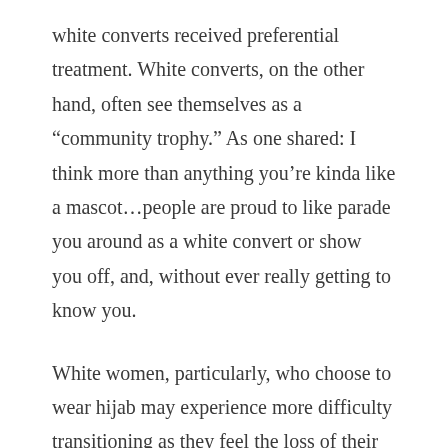white converts received preferential treatment. White converts, on the other hand, often see themselves as a “community trophy.” As one shared: I think more than anything you’re kinda like a mascot…people are proud to like parade you around as a white convert or show you off, and, without ever really getting to know you.
White women, particularly, who choose to wear hijab may experience more difficulty transitioning as they feel the loss of their societal white privilege. Female Muslim converts are particularly mischaracterized by the media, which portrays them as brainwashed, weak-willed, and easily misled by Muslim men. Deanna Othman writes that the